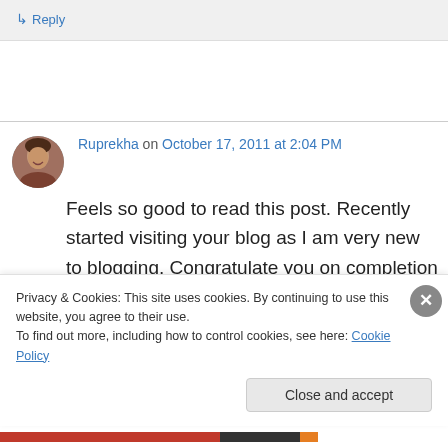↳ Reply
Ruprekha on October 17, 2011 at 2:04 PM
Feels so good to read this post. Recently started visiting your blog as I am very new to blogging. Congratulate you on completion of two years, wish you many more.
Privacy & Cookies: This site uses cookies. By continuing to use this website, you agree to their use. To find out more, including how to control cookies, see here: Cookie Policy
Close and accept